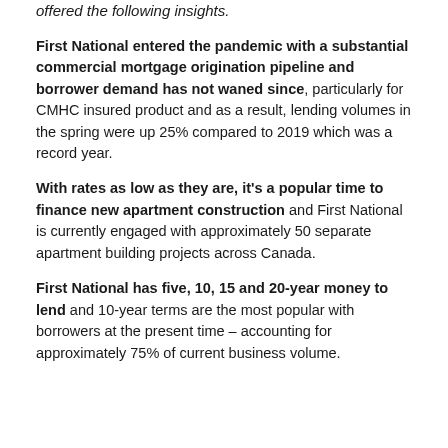offered the following insights.
First National entered the pandemic with a substantial commercial mortgage origination pipeline and borrower demand has not waned since, particularly for CMHC insured product and as a result, lending volumes in the spring were up 25% compared to 2019 which was a record year.
With rates as low as they are, it's a popular time to finance new apartment construction and First National is currently engaged with approximately 50 separate apartment building projects across Canada.
First National has five, 10, 15 and 20-year money to lend and 10-year terms are the most popular with borrowers at the present time – accounting for approximately 75% of current business volume.